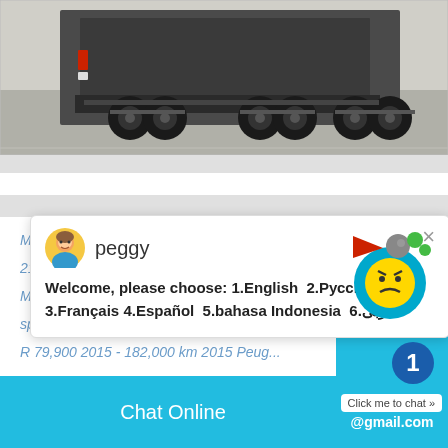[Figure (photo): Rear view of a heavy truck/semi-trailer on a road, showing rear axles, wheels, and flatbed trailer against a light asphalt background.]
Mashishing, Lydenburg Feb 26. R 250,000 217,000 km Toyota Fortuner 3.0 D4D for Mashishing, Lydenburg Feb 26. R 6,800 speed auto box for sale. Mashishing, Lyd... R 79,900 2015 - 182,000 km 2015 Peug...
[Figure (screenshot): Chat widget popup with avatar of agent 'peggy' and multilingual welcome message. Close button (×) in top right corner.]
peggy
Welcome, please choose: 1.English  2.Русский 3.Français 4.Español  5.bahasa Indonesia  6.عربی
Enquiry
Chat Online
cywaitml@gmail.com